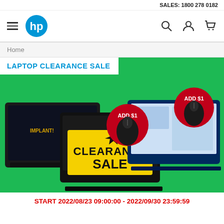SALES: 1800 278 0182
[Figure (logo): HP logo (blue circle with white HP text) and navigation bar with hamburger menu, search, account, and cart icons]
Home
[Figure (photo): Laptop Clearance Sale promotional banner on green background showing three HP laptops and two red circular badges saying ADD $1 with mouse images, center laptop has yellow CLEARANCE SALE sticker]
START 2022/08/23 09:00:00 - 2022/09/30 23:59:59